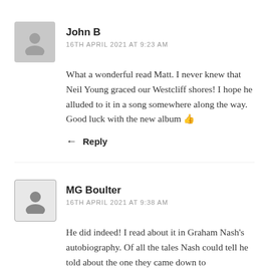John B
16TH APRIL 2021 AT 9:23 AM
What a wonderful read Matt. I never knew that Neil Young graced our Westcliff shores! I hope he alluded to it in a song somewhere along the way. Good luck with the new album 👍
Reply
MG Boulter
16TH APRIL 2021 AT 9:38 AM
He did indeed! I read about it in Graham Nash's autobiography. Of all the tales Nash could tell he told about the one they came down to